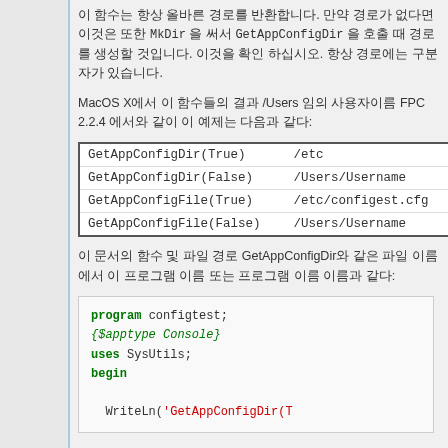이 함수는 항상 올바른 경로를 반환합니다. 만약 경로가 없다면 이것은 또한 MkDir 을 써서 GetAppConfigDir 을 호출 때 경로를 생성할 것입니다. 이것을 확인 하십시오. 항상 경로에는 구분자가 있습니다.
MacOS X에서 이 함수들의 결과 /Users 임의 사용자이름 FPC 2.2.4 에서와 같이 이 예제는 다음과 같다:
| GetAppConfigDir(True) | /etc |
| GetAppConfigDir(False) | /Users/Username |
| GetAppConfigFile(True) | /etc/configest.cfg |
| GetAppConfigFile(False) | /Users/Username |
이 문서의 함수 및 파일 경로 GetAppConfigDir와 같은 파일 이름에서 이 프로그램 이름 또는 프로그램 이름 이름과 같다:
[Figure (screenshot): Pascal code block showing: program configtest; {$apptype Console} uses SysUtils; begin WriteLn('GetAppConfigDir(T]